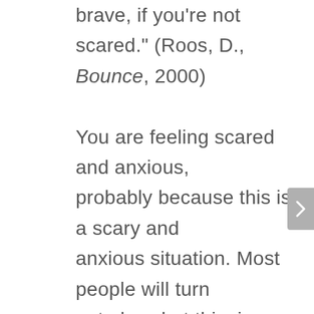brave, if you're not scared." (Roos, D., Bounce, 2000)

You are feeling scared and anxious, probably because this is a scary and anxious situation. Most people will turn out okay, but this, in a way, is becoming a viral game of Russian Roulette.  Making space for and understanding your anxiety is not just about coping – it is figuring out how to make it part of the team instead of a problem for the team.  And like an attention-neglected child, the more you